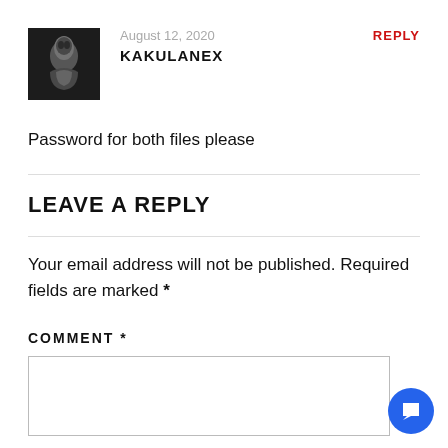[Figure (photo): Black and white profile photo of a person (appears to be a stylized/dramatic portrait)]
August 12, 2020
KAKULANEX
REPLY
Password for both files please
LEAVE A REPLY
Your email address will not be published. Required fields are marked *
COMMENT *
[Figure (illustration): Blue circular chat/message button with white speech bubble icon]